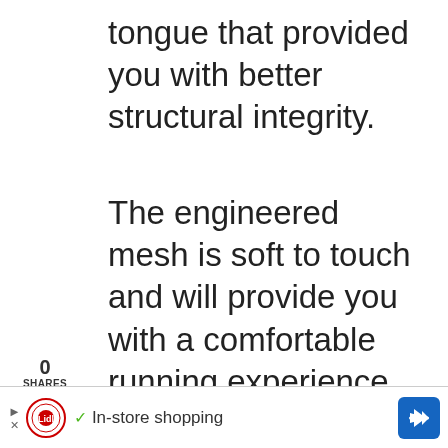tongue that provided you with better structural integrity.
The engineered mesh is soft to touch and will provide you with a comfortable running experience.
0
SHARES
f
The cons of Brook Ghosti...
We use cookies on our website to give you the most relevant experience by remembering your preferences and repeat visits. By clicking “Accept”, you consent to the use of ALL the cookies.
Do not sell my personal information.
[Figure (screenshot): Cookie consent banner with reject and accept buttons on green background, and Lidl in-store shopping advertisement bar at the bottom]